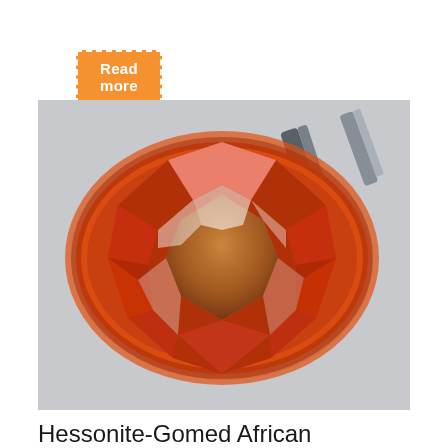Read more
[Figure (photo): A faceted oval hessonite garnet gemstone (orange-red color) held by metal tweezers, photographed against a light grey background. The gem shows brilliant facets with orange, red, and white reflections.]
Hessonite-Gomed African